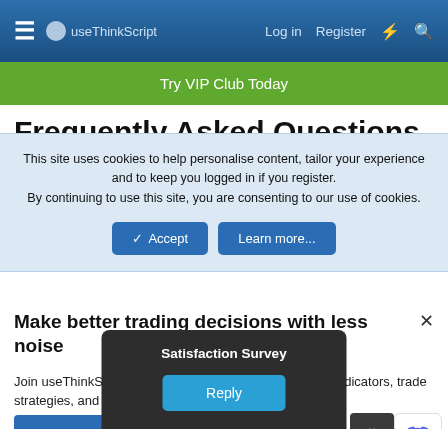useThinkScript — Log in  Register
Try VIP Club Today
Frequently Asked Questions
This site uses cookies to help personalise content, tailor your experience and to keep you logged in if you register. By continuing to use this site, you are consenting to our use of cookies.
Accept   Learn more...
Make better trading decisions with less noise
Join useThinkScript to stay update to date on the latest indicators, trade strategies, and tips for thinkorswim.
Satisfaction Survey
Reply